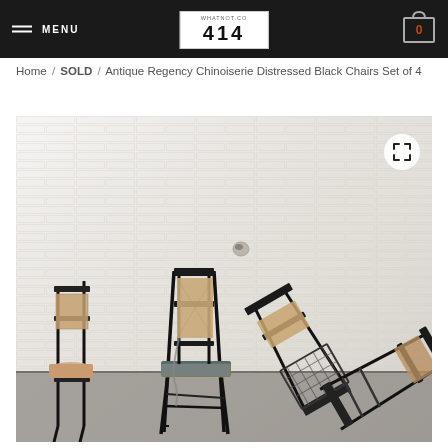MENU / 414 / 0
Home / SOLD / Antique Regency Chinoiserie Distressed Black Chairs Set of 4
[Figure (photo): Photograph of four antique Regency Chinoiserie distressed black chairs with floral upholstery, arranged in a casual grouping against a white painted brick wall. Some chairs are upright and one is tipped on its side.]